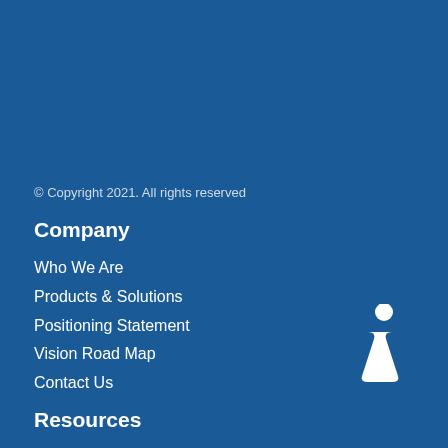© Copyright 2021. All rights reserved
Company
Who We Are
Products & Solutions
Positioning Statement
Vision Road Map
Contact Us
Resources
[Figure (illustration): White italic lowercase 'i' information icon]